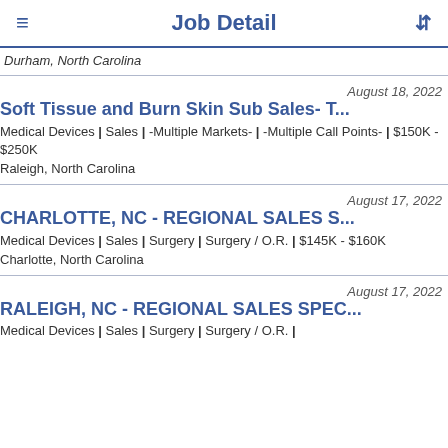Job Detail
Durham, North Carolina
August 18, 2022
Soft Tissue and Burn Skin Sub Sales- T...
Medical Devices | Sales | -Multiple Markets- | -Multiple Call Points- | $150K - $250K
Raleigh, North Carolina
August 17, 2022
CHARLOTTE, NC - REGIONAL SALES S...
Medical Devices | Sales | Surgery | Surgery / O.R. | $145K - $160K
Charlotte, North Carolina
August 17, 2022
RALEIGH, NC - REGIONAL SALES SPEC...
Medical Devices | Sales | Surgery | Surgery / O.R. |